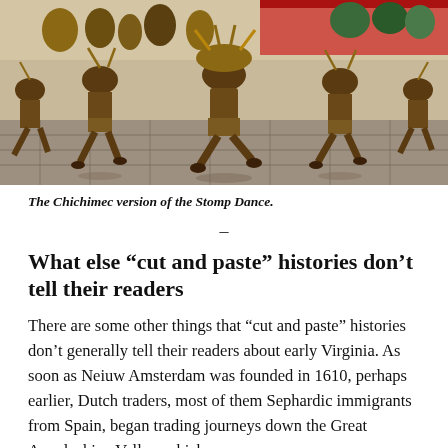[Figure (photo): Outdoor scene showing performers in traditional Chichimec costume doing the Stomp Dance, wearing feathered and decorated regalia, dancing on a stone-paved plaza with spectators in the background.]
The Chichimec version of the Stomp Dance.
What else “cut and paste” histories don’t tell their readers
There are some other things that “cut and paste” histories don’t generally tell their readers about early Virginia. As soon as Neiuw Amsterdam was founded in 1610, perhaps earlier, Dutch traders, most of them Sephardic immigrants from Spain, began trading journeys down the Great Appalachian Valley, which